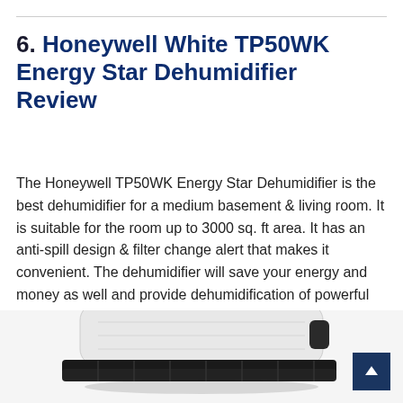6. Honeywell White TP50WK Energy Star Dehumidifier Review
The Honeywell TP50WK Energy Star Dehumidifier is the best dehumidifier for a medium basement & living room. It is suitable for the room up to 3000 sq. ft area. It has an anti-spill design & filter change alert that makes it convenient. The dehumidifier will save your energy and money as well and provide dehumidification of powerful experience.
[Figure (photo): Photo of the Honeywell White TP50WK dehumidifier unit, showing a white rectangular appliance with black ribbed bottom trim, viewed from a slight angle above.]